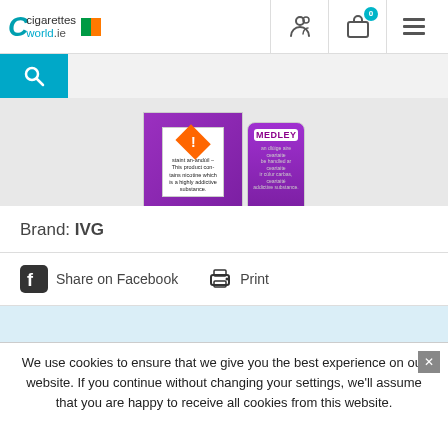cigarettesworld.ie — navigation header with logo, person icon, bag icon (0), menu icon
[Figure (screenshot): Website search bar with blue search button and grey input field]
[Figure (photo): Product image showing IVG Medley e-liquid bottles with nicotine warning label]
Brand: IVG
Share on Facebook   Print
We use cookies to ensure that we give you the best experience on our website. If you continue without changing your settings, we'll assume that you are happy to receive all cookies from this website.